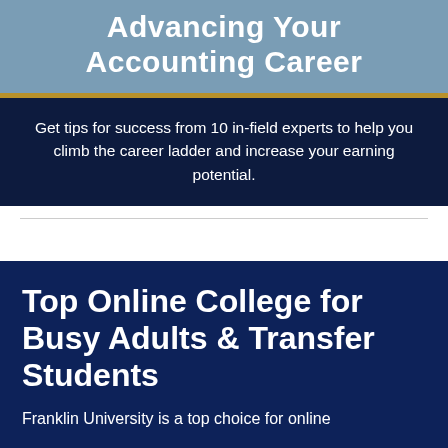Advancing Your Accounting Career
Get tips for success from 10 in-field experts to help you climb the career ladder and increase your earning potential.
Top Online College for Busy Adults & Transfer Students
Franklin University is a top choice for online